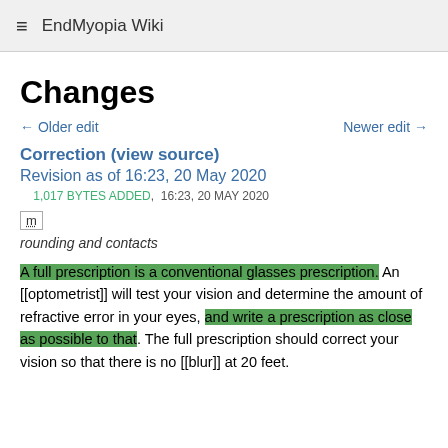EndMyopia Wiki
Changes
← Older edit   Newer edit →
Correction (view source)
Revision as of 16:23, 20 May 2020
1,017 BYTES ADDED,  16:23, 20 MAY 2020
m
rounding and contacts
A full prescription is a conventional glasses prescription. An [[optometrist]] will test your vision and determine the amount of refractive error in your eyes, and write a prescription as close as possible to that. The full prescription should correct your vision so that there is no [[blur]] at 20 feet.